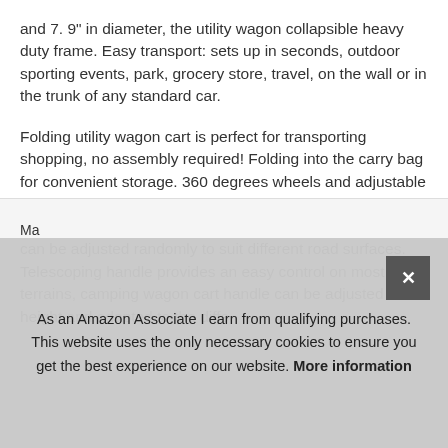and 7. 9" in diameter, the utility wagon collapsible heavy duty frame. Easy transport: sets up in seconds, outdoor sporting events, park, grocery store, travel, on the wall or in the trunk of any standard car.
Folding utility wagon cart is perfect for transporting shopping, no assembly required! Folding into the carry bag for convenient storage. 360 degrees wheels and adjustable handle : the folding wagon come with heavy duty PU Foam wheels - rotates 360, the spacing of the wagon cart wheels can be adjusted randomly to suit different road surfaces. Telescoping handle provides an easy control on most terrains, camping wagon cart handle can be adjusted height and adapted to the diffe...
As an Amazon Associate I earn from qualifying purchases. This website uses the only necessary cookies to ensure you get the best experience on our website. More information